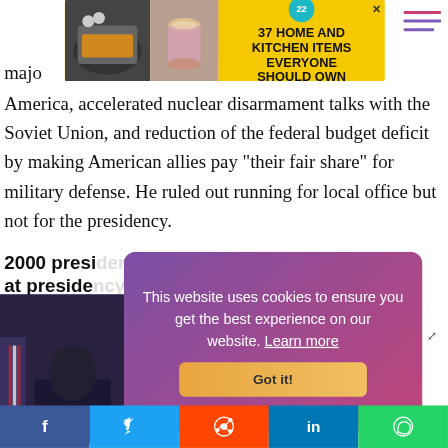[Figure (photo): Advertisement banner with yellow background showing 37 HOME AND KITCHEN ITEMS EVERYONE SHOULD OWN, with food/drink product images and a teal badge showing 22]
major
America, accelerated nuclear disarmament talks with the Soviet Union, and reduction of the federal budget deficit by making American allies pay "their fair share" for military defense. He ruled out running for local office but not for the presidency.
2000 presidential ... hints at presidential
[Figure (photo): Photo of person with flag in background, partially obscured by cookie consent popup]
This website uses cookies to ensure you get the best experience on our website. Learn more
Got it!
[Figure (infographic): Social media sharing bar with Facebook, Twitter, Reddit, LinkedIn, WhatsApp buttons]